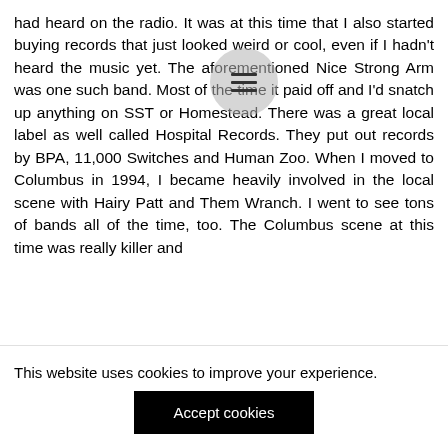had heard on the radio. It was at this time that I also started buying records that just looked weird or cool, even if I hadn't heard the music yet. The aforementioned Nice Strong Arm was one such band. Most of the time it paid off and I'd snatch up anything on SST or Homestead. There was a great local label as well called Hospital Records. They put out records by BPA, 11,000 Switches and Human Zoo. When I moved to Columbus in 1994, I became heavily involved in the local scene with Hairy Patt and Them Wranch. I went to see tons of bands all of the time, too. The Columbus scene at this time was really killer and
This website uses cookies to improve your experience.
Accept cookies